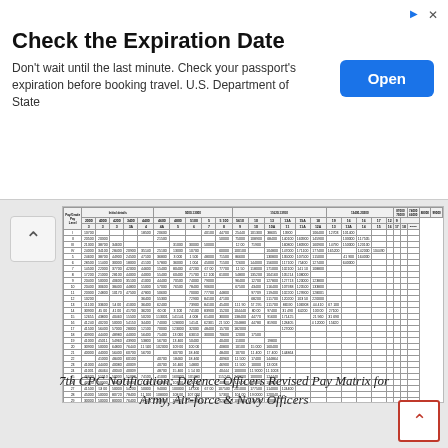[Figure (screenshot): Advertisement banner: Check the Expiration Date - U.S. Department of State passport reminder with Open button]
[Figure (table-as-image): 7th CPC Defence Officers Revised Pay Matrix table for Army, Air-force & Navy Officers showing pay levels and grade pay]
7th CPC Notification: Defence Officers Revised Pay Matrix for Army, Air-force & Navy Officers